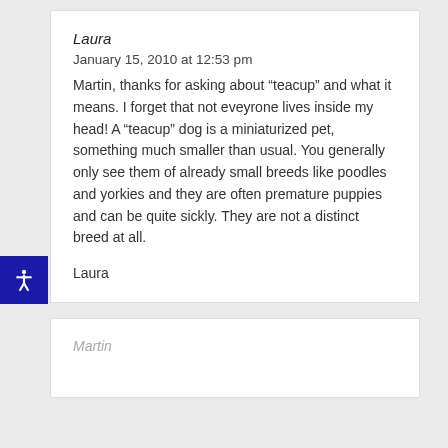Laura
January 15, 2010 at 12:53 pm
Martin, thanks for asking about “teacup” and what it means. I forget that not eveyrone lives inside my head! A “teacup” dog is a miniaturized pet, something much smaller than usual. You generally only see them of already small breeds like poodles and yorkies and they are often premature puppies and can be quite sickly. They are not a distinct breed at all.
Laura
Ma…